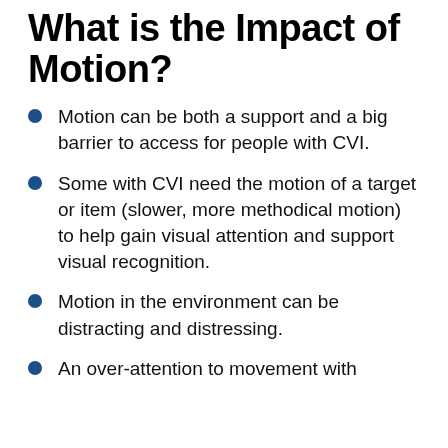What is the Impact of Motion?
Motion can be both a support and a big barrier to access for people with CVI.
Some with CVI need the motion of a target or item (slower, more methodical motion) to help gain visual attention and support visual recognition.
Motion in the environment can be distracting and distressing.
An over-attention to movement with